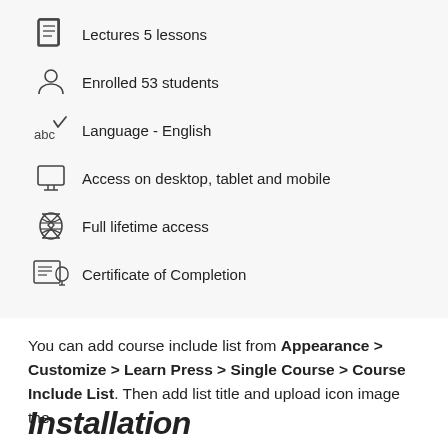Lectures 5 lessons
Enrolled 53 students
Language - English
Access on desktop, tablet and mobile
Full lifetime access
Certificate of Completion
You can add course include list from Appearance > Customize > Learn Press > Single Course > Course Include List. Then add list title and upload icon image the
Installation